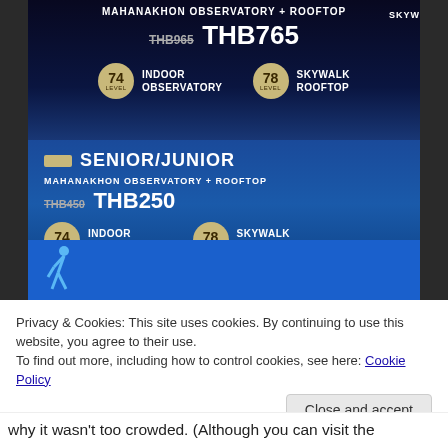[Figure (photo): Photo of a pricing sign at Mahanakhon Observatory + Rooftop in Bangkok. Top section shows adult price: original THB965, discounted THB765, with level 74 Indoor Observatory and level 78 Skywalk Rooftop. Bottom blue section shows Senior/Junior price: original THB450, discounted THB250, with the same level indicators. Below is a walking person icon on a bright blue background.]
Privacy & Cookies: This site uses cookies. By continuing to use this website, you agree to their use.
To find out more, including how to control cookies, see here: Cookie Policy
Close and accept
why it wasn't too crowded.  (Although you can visit the